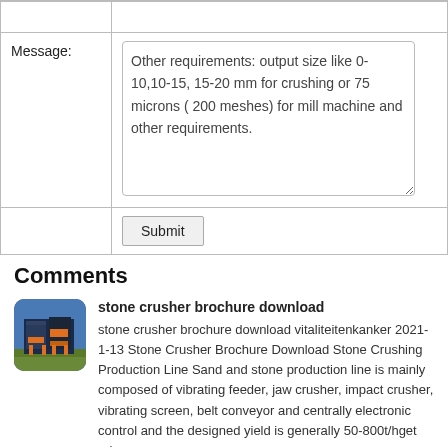| Message: | Other requirements: output size like 0-10,10-15, 15-20 mm for crushing or 75 microns ( 200 meshes) for mill machine and other requirements. |
|  | [Submit button] |
Comments
[Figure (photo): Thumbnail image of stone crusher machine with orange and blue industrial equipment]
stone crusher brochure download
stone crusher brochure download vitaliteitenkanker 2021-1-13 Stone Crusher Brochure Download Stone Crushing Production Line Sand and stone production line is mainly composed of vibrating feeder, jaw crusher, impact crusher, vibrating screen, belt conveyor and centrally electronic control and the designed yield is generally 50-800t/hget price...